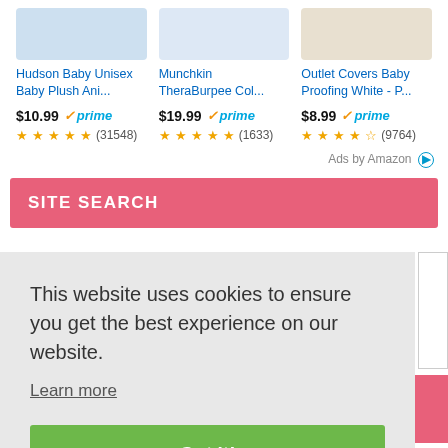[Figure (other): Three product thumbnails for baby products shown at top of page]
Hudson Baby Unisex Baby Plush Ani...
$10.99 prime (31548)
Munchkin TheraBurpee Col...
$19.99 prime (1633)
Outlet Covers Baby Proofing White - P...
$8.99 prime (9764)
Ads by Amazon
SITE SEARCH
This website uses cookies to ensure you get the best experience on our website.
Learn more
Got it!